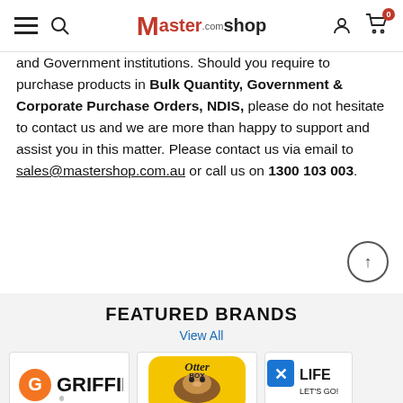Mastershop navigation bar
and Government institutions. Should you require to purchase products in Bulk Quantity, Government & Corporate Purchase Orders, NDIS, please do not hesitate to contact us and we are more than happy to support and assist you in this matter. Please contact us via email to sales@mastershop.com.au or call us on 1300 103 003.
FEATURED BRANDS
View All
[Figure (logo): Griffin Survivor brand logo - orange G circle with GRIFFIN text]
GRIFFIN SURVIVOR
[Figure (logo): OtterBox brand logo - yellow rounded rectangle with otter illustration]
OTTERBOX
[Figure (logo): Lifeproof brand logo - partially visible, LET'S GO! text]
LIFEP...